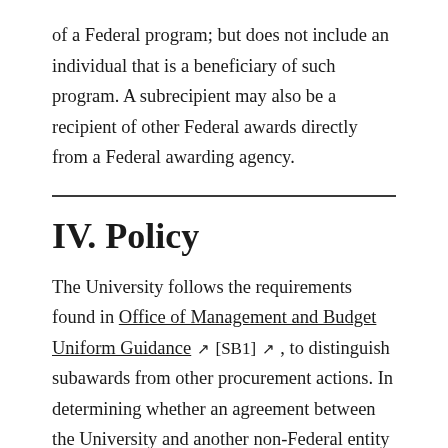of a Federal program; but does not include an individual that is a beneficiary of such program. A subrecipient may also be a recipient of other Federal awards directly from a Federal awarding agency.
IV. Policy
The University follows the requirements found in Office of Management and Budget Uniform Guidance [SB1], to distinguish subawards from other procurement actions. In determining whether an agreement between the University and another non-Federal entity cast the latter as a subrecipient or contractor, the substance of the relationship is more important than the form of the